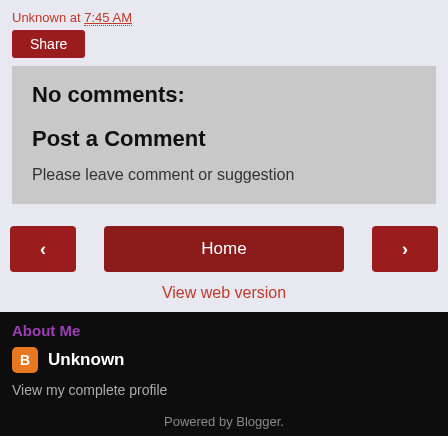Unknown at 7:45 AM
Share
No comments:
Post a Comment
Please leave comment or suggestion
‹
Home
›
View web version
About Me
Unknown
View my complete profile
Powered by Blogger.